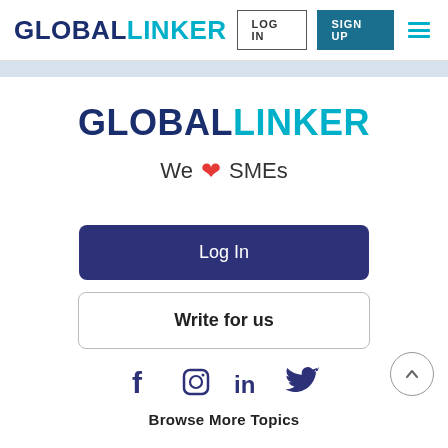GLOBALLINKER  LOG IN  SIGN UP
[Figure (logo): GlobalLinker logo — GLOBAL in dark navy bold, LINKER in teal bold, centered on page]
We ❤ SMEs
Log In
Write for us
[Figure (infographic): Social media icons: Facebook, Instagram, LinkedIn, Twitter — all in dark navy]
Browse More Topics